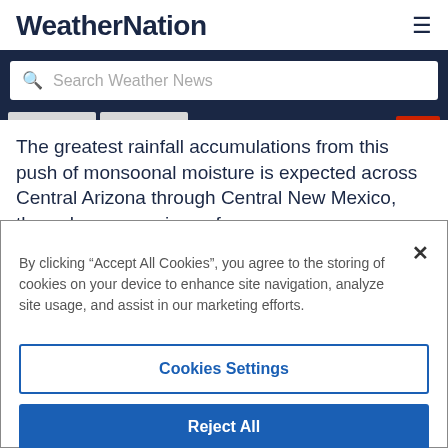WeatherNation
Search Weather News
The greatest rainfall accumulations from this push of monsoonal moisture is expected across Central Arizona through Central New Mexico, through some regions of
By clicking “Accept All Cookies“, you agree to the storing of cookies on your device to enhance site navigation, analyze site usage, and assist in our marketing efforts.
Cookies Settings
Reject All
Accept All Cookies